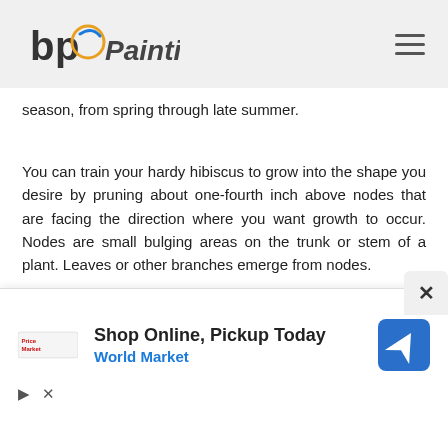bp Painting [logo] [hamburger menu]
season, from spring through late summer.
You can train your hardy hibiscus to grow into the shape you desire by pruning about one-fourth inch above nodes that are facing the direction where you want growth to occur. Nodes are small bulging areas on the trunk or stem of a plant. Leaves or other branches emerge from nodes.
Frost can damage your hibiscus if you
[Figure (screenshot): Advertisement banner: 'Shop Online, Pickup Today — World Market' with World Market logo and blue navigation icon, with close controls at bottom left]